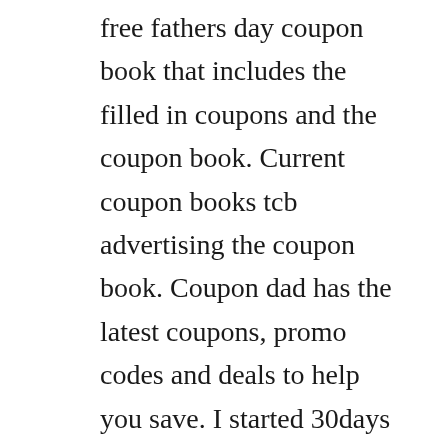free fathers day coupon book that includes the filled in coupons and the coupon book. Current coupon books tcb advertising the coupon book. Coupon dad has the latest coupons, promo codes and deals to help you save. I started 30days several years ago as my idea file. Please practice handwashing and social distancing, and check out our resources for adapting to these times. Verisign computes scores on a 110 scale 10 being best, to measure the reliability and quantity of. There are two pages of coupons for things like a car wash, breakfast in bed, a big hug, movie